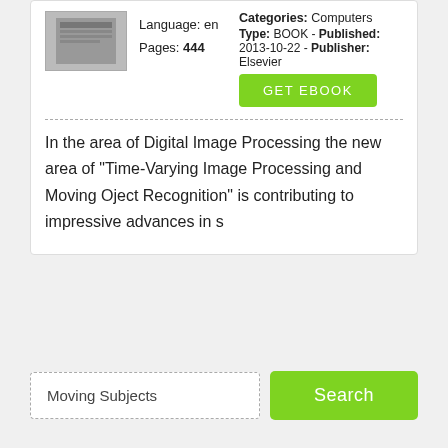[Figure (screenshot): Book thumbnail image placeholder]
Language: en
Pages: 444
Categories: Computers
Type: BOOK - Published: 2013-10-22 - Publisher: Elsevier
GET EBOOK
In the area of Digital Image Processing the new area of "Time-Varying Image Processing and Moving Oject Recognition" is contributing to impressive advances in s
Moving Subjects
Search